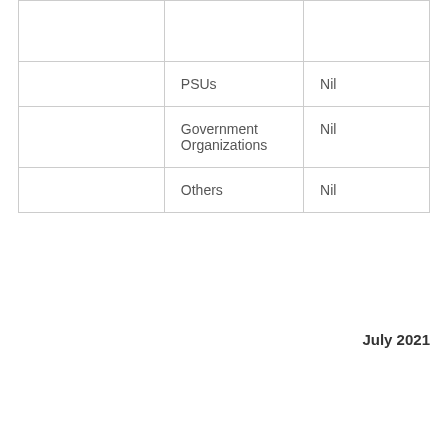|  |  |  |
|  | PSUs | Nil |
|  | Government Organizations | Nil |
|  | Others | Nil |
July 2021